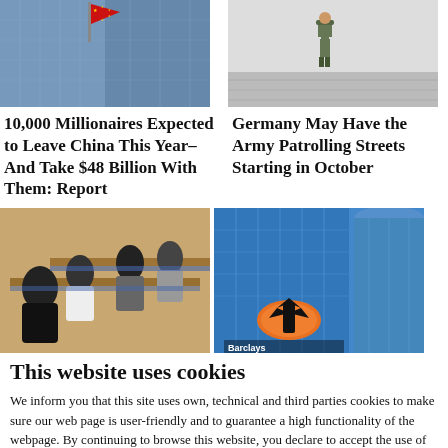[Figure (photo): Building with red Chinese flag against blue sky]
10,000 Millionaires Expected to Leave China This Year–And Take $48 Billion With Them: Report
[Figure (photo): Soldier in military uniform walking on pavement]
Germany May Have the Army Patrolling Streets Starting in October
[Figure (photo): People working/studying at tables in a room]
[Figure (photo): Modern glass office building with Barclays logo]
This website uses cookies
We inform you that this site uses own, technical and third parties cookies to make sure our web page is user-friendly and to guarantee a high functionality of the webpage. By continuing to browse this website, you declare to accept the use of cookies.